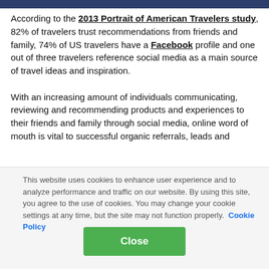According to the 2013 Portrait of American Travelers study, 82% of travelers trust recommendations from friends and family, 74% of US travelers have a Facebook profile and one out of three travelers reference social media as a main source of travel ideas and inspiration.

With an increasing amount of individuals communicating, reviewing and recommending products and experiences to their friends and family through social media, online word of mouth is vital to successful organic referrals, leads and
This website uses cookies to enhance user experience and to analyze performance and traffic on our website. By using this site, you agree to the use of cookies. You may change your cookie settings at any time, but the site may not function properly. Cookie Policy
Close